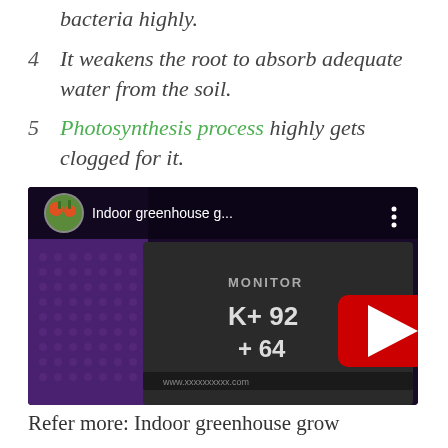bacteria highly.
4  It weakens the root to absorb adequate water from the soil.
5  Photosynthesis process highly gets clogged for it.
[Figure (screenshot): YouTube video thumbnail showing 'Indoor greenhouse g...' with a circular channel icon of vegetables, a red play button in the center, and a dark background displaying a monitor with readings K+ 92 and + 64.]
Refer more: Indoor greenhouse grow